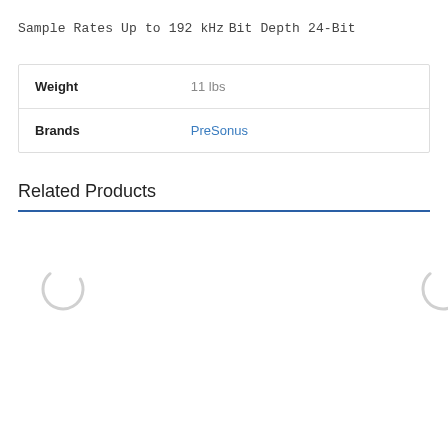Sample Rates Up to 192 kHz
Bit Depth 24-Bit
| Weight | 11 lbs |
| Brands | PreSonus |
Related Products
[Figure (illustration): Two loading spinner icons (partial circles) shown in the Related Products area, indicating content is loading]